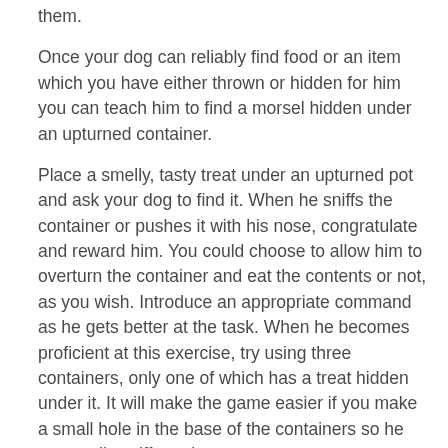them.
Once your dog can reliably find food or an item which you have either thrown or hidden for him you can teach him to find a morsel hidden under an upturned container.
Place a smelly, tasty treat under an upturned pot and ask your dog to find it. When he sniffs the container or pushes it with his nose, congratulate and reward him. You could choose to allow him to overturn the container and eat the contents or not, as you wish. Introduce an appropriate command as he gets better at the task. When he becomes proficient at this exercise, try using three containers, only one of which has a treat hidden under it. It will make the game easier if you make a small hole in the base of the containers so he can easily sniff out the contents.
You can then experiment with shuffling the containers to increase the challenge for your dog.
Once your dog is proficient at this game you have an